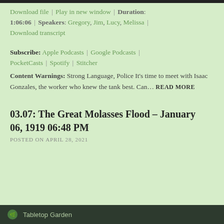Download file | Play in new window | Duration: 1:06:06 | Speakers: Gregory, Jim, Lucy, Melissa | Download transcript
Subscribe: Apple Podcasts | Google Podcasts | PocketCasts | Spotify | Stitcher
Content Warnings: Strong Language, Police It's time to meet with Isaac Gonzales, the worker who knew the tank best. Can... READ MORE
03.07: The Great Molasses Flood – January 06, 1919 06:48 PM
POSTED ON APRIL 28, 2021
[Figure (other): Dark green card/banner at the bottom with a small icon and text 'Tabletop Garden']